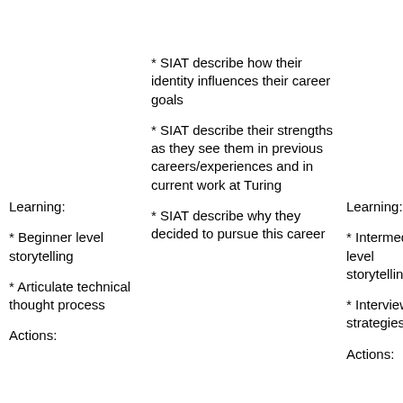* SIAT describe how their identity influences their career goals
Learning:
* SIAT describe their strengths as they see them in previous careers/experiences and in current work at Turing
* Beginner level storytelling
* Articulate technical thought process
Actions:
* SIAT describe why they decided to pursue this career
Learning:
* Intermediate level storytelling
* Interviewing strategies
Actions: